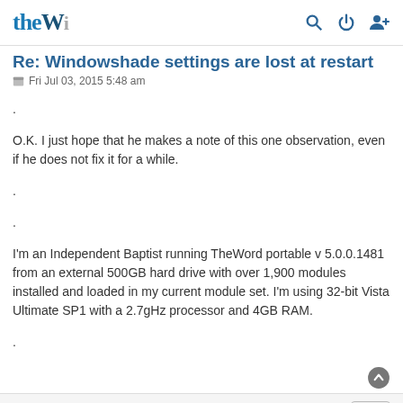theW (logo) with search, power, user icons
Re: Windowshade settings are lost at restart
Fri Jul 03, 2015 5:48 am
.
O.K. I just hope that he makes a note of this one observation, even if he does not fix it for a while.
.
.
I'm an Independent Baptist running TheWord portable v 5.0.0.1481 from an external 500GB hard drive with over 1,900 modules installed and loaded in my current module set. I'm using 32-bit Vista Ultimate SP1 with a 2.7gHz processor and 4GB RAM.
.
csterg
Site Admin
Re: Windowshade settings are lost at restart
Fri Jul 03, 2015 12:15 pm
I will not be fixing this, sorry